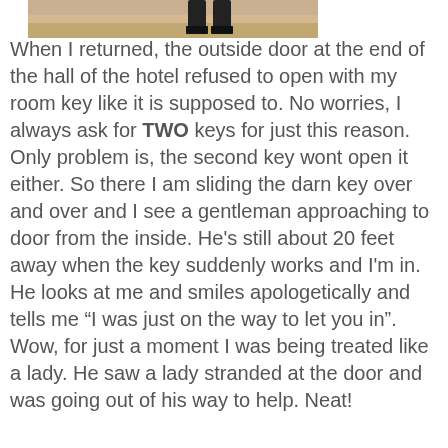[Figure (photo): Partial photo showing what appears to be legs/boots and a floor, cropped at top of page]
When I returned, the outside door at the end of the hall of the hotel refused to open with my room key like it is supposed to. No worries, I always ask for TWO keys for just this reason. Only problem is, the second key wont open it either. So there I am sliding the darn key over and over and I see a gentleman approaching to door from the inside. He's still about 20 feet away when the key suddenly works and I'm in. He looks at me and smiles apologetically and tells me “I was just on the way to let you in”.
Wow, for just a moment I was being treated like a lady. He saw a lady stranded at the door and was going out of his way to help. Neat!